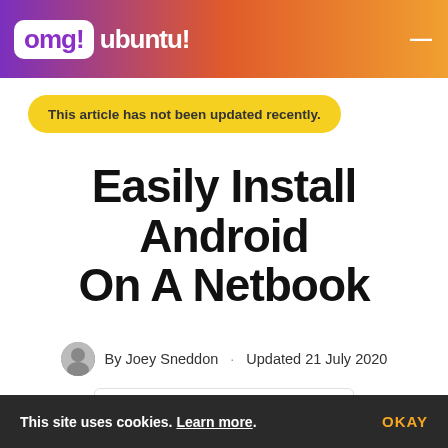omg! ubuntu!
This article has not been updated recently.
Easily Install Android On A Netbook
By Joey Sneddon · Updated 21 July 2020
Tweet   Post   Send   0
Although we here at OMG! Ubuntu! are Ubuntu fans it's
This site uses cookies. Learn more. OKAY